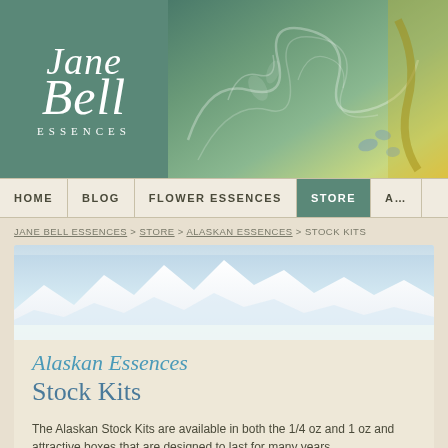[Figure (logo): Jane Bell Essences logo — white italic script text on teal/green background with decorative botanical banner image]
HOME | BLOG | FLOWER ESSENCES | STORE | A…
JANE BELL ESSENCES > STORE > ALASKAN ESSENCES > STOCK KITS
[Figure (photo): Alaskan mountain range with snow-capped peaks against pale blue sky]
Alaskan Essences Stock Kits
The Alaskan Stock Kits are available in both the 1/4 oz and 1 oz and attractive boxes that are designed to last for many years.
Combination Formula Kit
Environmental Essence Kit
Flower Essence P…